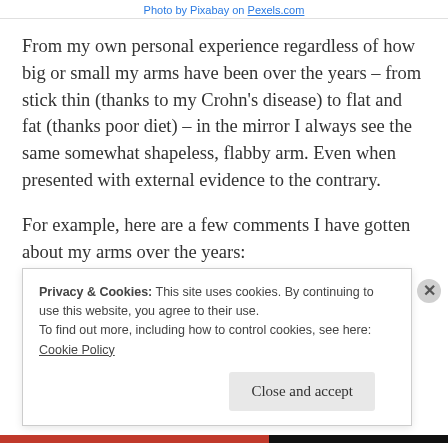Photo by Pixabay on Pexels.com
From my own personal experience regardless of how big or small my arms have been over the years – from stick thin (thanks to my Crohn's disease) to flat and fat (thanks poor diet) – in the mirror I always see the same somewhat shapeless, flabby arm. Even when presented with external evidence to the contrary.
For example, here are a few comments I have gotten about my arms over the years:
Privacy & Cookies: This site uses cookies. By continuing to use this website, you agree to their use.
To find out more, including how to control cookies, see here:
Cookie Policy
Close and accept